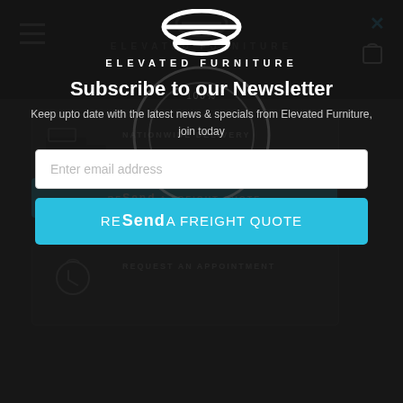[Figure (screenshot): Elevated Furniture website screenshot with navigation bar, hamburger menu, dark background, and NZ badge logo]
[Figure (logo): Elevated Furniture logo with stylized 'E' emblem and brand name text]
Subscribe to our Newsletter
Keep upto date with the latest news & specials from Elevated Furniture, join today
Enter email address
Send